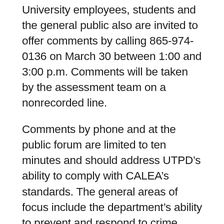University employees, students and the general public also are invited to offer comments by calling 865-974-0136 on March 30 between 1:00 and 3:00 p.m. Comments will be taken by the assessment team on a nonrecorded line.
Comments by phone and at the public forum are limited to ten minutes and should address UTPD’s ability to comply with CALEA’s standards. The general areas of focus include the department’s ability to prevent and respond to crime, deliver services, build a rapport with the campus community, cooperate with other law enforcement agencies, and continue in its efforts to improve its practices and procedures.